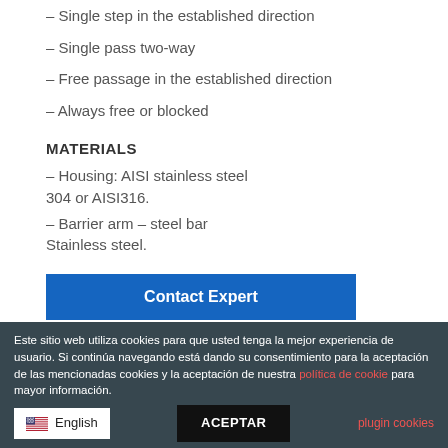– Single step in the established direction
– Single pass two-way
– Free passage in the established direction
– Always free or blocked
MATERIALS
– Housing: AISI stainless steel 304 or AISI316.
– Barrier arm – steel bar Stainless steel.
Contact Expert
Categories: SOLUTIONS, Turnstiles & Safety Gates
Este sitio web utiliza cookies para que usted tenga la mejor experiencia de usuario. Si continúa navegando está dando su consentimiento para la aceptación de las mencionadas cookies y la aceptación de nuestra política de cookie para mayor información.
English
ACEPTAR
plugin cookies